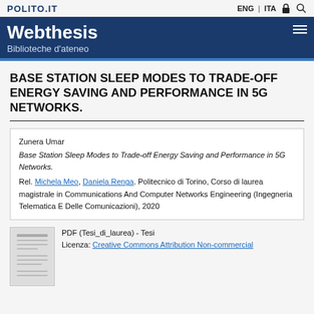POLITO.IT
Webthesis
Biblioteche d'ateneo
BASE STATION SLEEP MODES TO TRADE-OFF ENERGY SAVING AND PERFORMANCE IN 5G NETWORKS.
Zunera Umar
Base Station Sleep Modes to Trade-off Energy Saving and Performance in 5G Networks.
Rel. Michela Meo, Daniela Renga. Politecnico di Torino, Corso di laurea magistrale in Communications And Computer Networks Engineering (Ingegneria Telematica E Delle Comunicazioni), 2020
PDF (Tesi_di_laurea) - Tesi
Licenza: Creative Commons Attribution Non-commercial